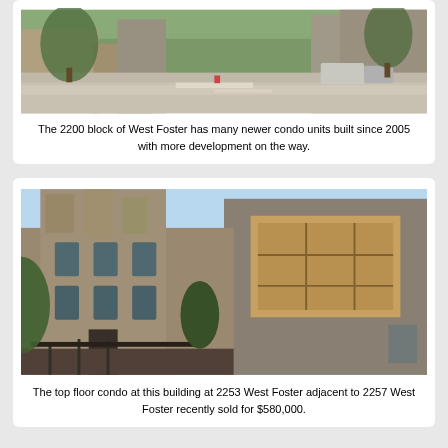[Figure (photo): Street-level photo of the 2200 block of West Foster showing newer condo units and street intersection]
The 2200 block of West Foster has many newer condo units built since 2005 with more development on the way.
[Figure (photo): Photo of the building at 2253 West Foster adjacent to 2257 West Foster, showing brick facade with large modern windows]
The top floor condo at this building at 2253 West Foster adjacent to 2257 West Foster recently sold for $580,000.